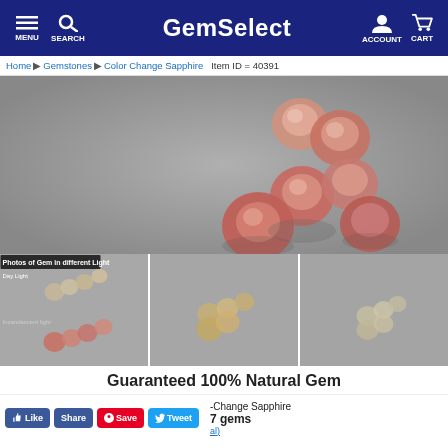MENU  SEARCH  GemSelect  ACCOUNT  CART
Home > Gemstones > Color Change Sapphire  Item ID = 40391
[Figure (photo): Main product photo of multiple pink/peach round faceted color-change sapphire gemstones arranged diagonally on a grey background.]
[Figure (photo): Three thumbnail photos of color-change sapphire gems in different lighting conditions: Day Light (top), Incandescent light (bottom left thumbnail); two additional angle/light photos in center and right thumbnails.]
Guaranteed 100% Natural Gem
-Change Sapphire
7 gems
al)
Like  Share  Save  Tweet